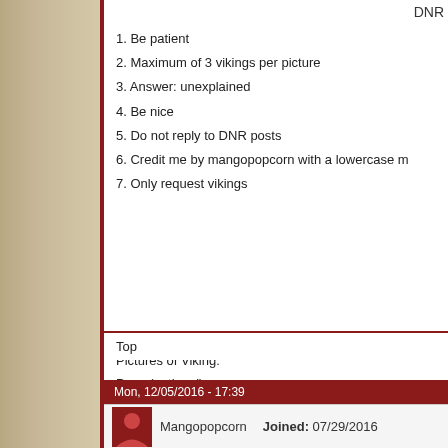DNR
1. Be patient
2. Maximum of 3 vikings per picture
3. Answer: unexplained
4. Be nice
5. Do not reply to DNR posts
6. Credit me by mangopopcorn with a lowercase m
7. Only request vikings
Name:
Pictures of Viking:
Pose (optional):
Picture edited (I don't need a picture, but I do need who you want ec
Personality (optional):
What is the answer?:
Top
Mon, 12/05/2016 - 17:39
Mangopopcorn    Joined: 07/29/2016